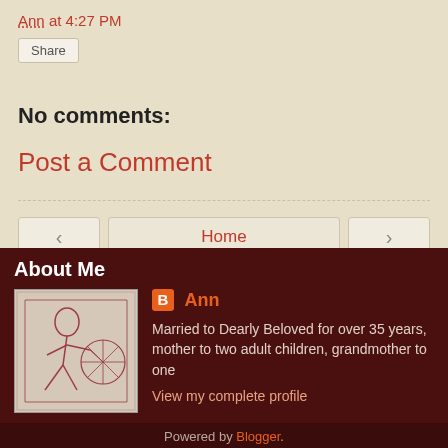Ann at 4:27 PM
Share
No comments:
Post a Comment
< Home >
View web version
About Me
[Figure (illustration): Sketch illustration of a woman at a spinning wheel, line art in red/maroon on beige background]
Ann
Married to Dearly Beloved for over 35 years, mother to two adult children, grandmother to one
View my complete profile
Powered by Blogger.